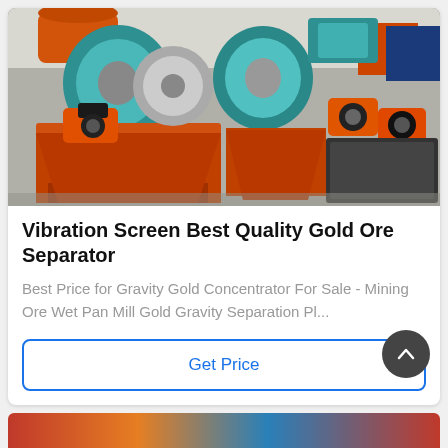[Figure (photo): Industrial factory floor showing multiple orange-framed magnetic separator machines with teal/green rotating drums and orange electric motors, arranged in rows on a concrete floor inside a large warehouse]
Vibration Screen Best Quality Gold Ore Separator
Best Price for Gravity Gold Concentrator For Sale - Mining Ore Wet Pan Mill Gold Gravity Separation Pl...
Get Price
[Figure (photo): Partial view of another industrial machine product at the bottom of the page]